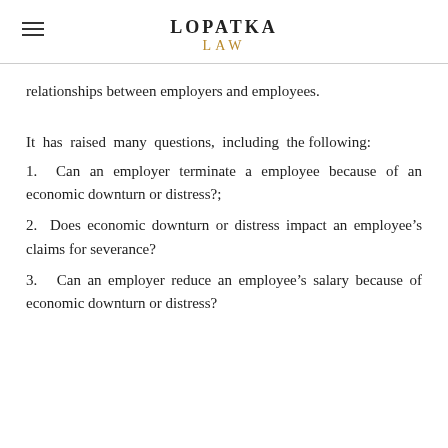LOPATKA LAW
relationships between employers and employees.
It has raised many questions, including the following:
1.  Can an employer terminate a employee because of an economic downturn or distress?;
2.  Does economic downturn or distress impact an employee's claims for severance?
3.   Can an employer reduce an employee's salary because of economic downturn or distress?